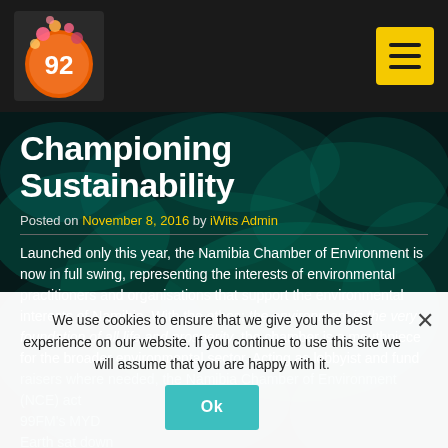99FM logo and navigation menu
Championing Sustainability
Posted on November 8, 2016 by iWits Admin
Launched only this year, the Namibia Chamber of Environment is now in full swing, representing the interests of environmental practitioners and organisations that support the environmental interests of Namibia. With the ethos: the environment is the very foundation of all life and prosperity, the chamber is a mouthpiece for the broader environmental sector. Acting as lobbyist and fund raisers where needed, the Namibia Chamber of Environment (NCE) act... 99FM's MYD Earth sat down with the Chief
We use cookies to ensure that we give you the best experience on our website. If you continue to use this site we will assume that you are happy with it.